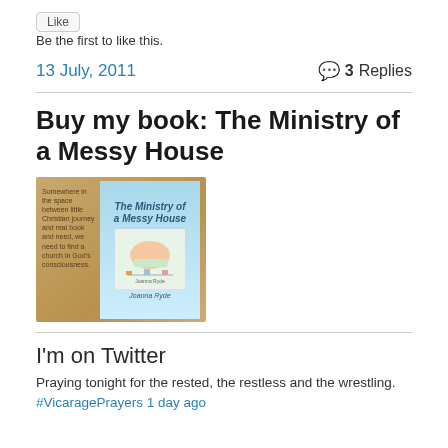Be the first to like this.
13 July, 2011
3 Replies
Buy my book: The Ministry of a Messy House
[Figure (photo): Photo of the book 'The Ministry of a Messy House' lying on a wooden surface, showing the light blue cover with illustration]
I'm on Twitter
Praying tonight for the rested, the restless and the wrestling.
#VicaragePrayers 1 day ago